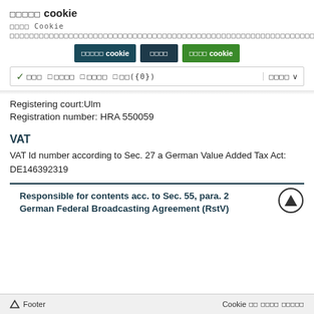□□□□□ cookie
□□□□ Cookie □□□□□□□□□□□□□□□□□□□□□□□□□□□□□□□□□□□□□□□□□□□□□□□□□□□□□□□□□□□□□□□□□□□□□□□□□□□□□□□□□□□□□□□□□□□□□□□□□□□□□□□□□□□□□□□□□□□□□□□□
[Figure (screenshot): Three buttons: dark teal 'HHHHH cookie', dark 'HHHH', green 'HHHH cookie']
✓ HHH  □ HHHH  □ HHHH  □ HH({0})  |  HHHH ∨
Registering court:Ulm
Registration number: HRA 550059
VAT
VAT Id number according to Sec. 27 a German Value Added Tax Act:
DE146392319
Responsible for contents acc. to Sec. 55, para. 2 German Federal Broadcasting Agreement (RstV)
Footer  |  Cookie □□  □□□□  □□□□□